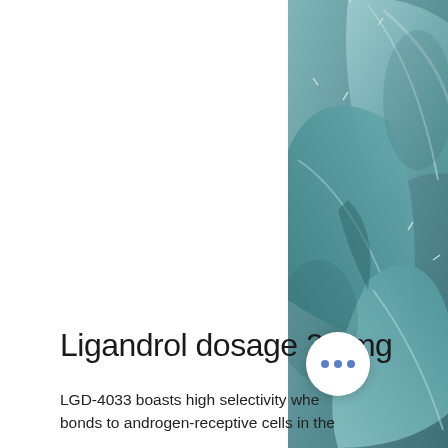[Figure (photo): Close-up photograph of an agave or succulent plant with blue-green thorn-tipped leaves, cropped to show the right side of the page]
Ligandrol dosage 20 mg
LGD-4033 boasts high selectivity when it bonds to androgen-receptive cells in the